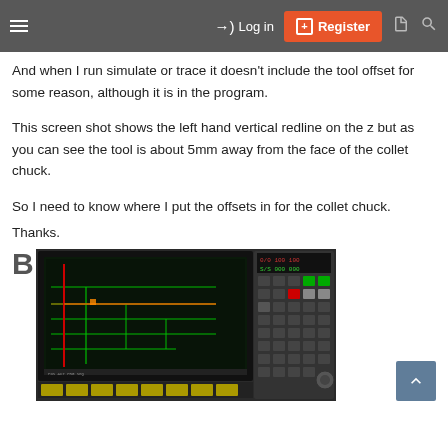≡  →) Log in  ⊞ Register
And when I run simulate or trace it doesn't include the tool offset for some reason, although it is in the program.
This screen shot shows the left hand vertical redline on the z but as you can see the tool is about 5mm away from the face of the collet chuck.
So I need to know where I put the offsets in for the collet chuck.
Thanks.
[Figure (photo): A CNC machine control panel showing a screen with a toolpath simulation. The screen shows horizontal and vertical green/yellow lines with a red redline marker on the left side near the z-axis. The right side shows the machine's control keypad with various buttons.]